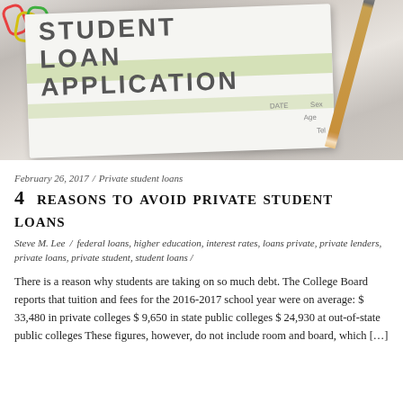[Figure (photo): Photo of a Student Loan Application form with paperclips in the corner and a pencil, on a desk]
February 26, 2017 / Private student loans
4 REASONS TO AVOID PRIVATE STUDENT LOANS
Steve M. Lee / federal loans, higher education, interest rates, loans private, private lenders, private loans, private student, student loans /
There is a reason why students are taking on so much debt. The College Board reports that tuition and fees for the 2016-2017 school year were on average: $ 33,480 in private colleges $ 9,650 in state public colleges $ 24,930 at out-of-state public colleges These figures, however, do not include room and board, which [...]